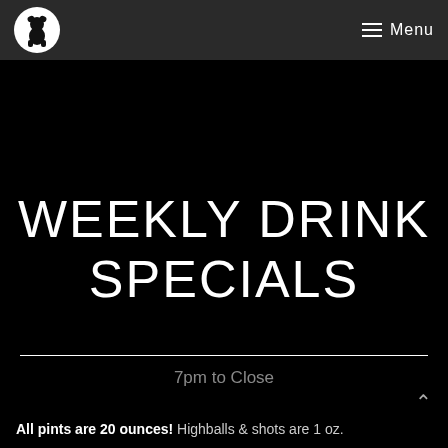Menu
WEEKLY DRINK SPECIALS
7pm to Close
All pints are 20 ounces! Highballs & shots are 1 oz.